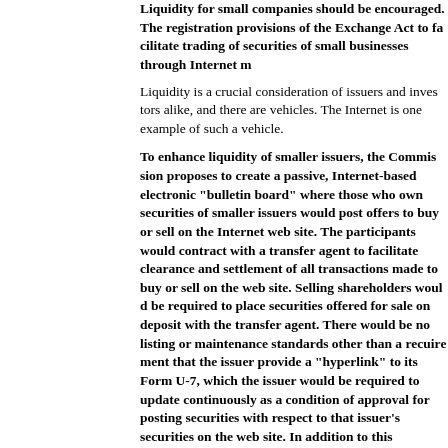Liquidity for small companies should be encouraged. The registration provisions of the Exchange Act to facilitate trading of securities of small businesses through Internet m...
Liquidity is a crucial consideration of issuers and investors alike, and there are vehicles. The Internet is one example of such a vehicle.
To enhance liquidity of smaller issuers, the Commission proposes to create a passive, Internet-based electronic "bulletin board" where those who own securities of smaller issuers would post offers to buy or sell on the Internet web site. The participants would contract with a transfer agent to facilitate clearance and settlement of all transactions made to buy or sell on the web site. Selling shareholders would be required to place securities offered for sale on deposit with the transfer agent. There would be no listing or maintenance standards other than a requirement that the issuer provide a "hyperlink" to its Form U-7, which the issuer would be required to update continuously as a condition of approval for posting securities with respect to that issuer's securities on the web site. In addition to this requirement, issuers also would be required to provide quarterly financial statements and audited year-end financial statements. Solicitation by broker-dealer telephone solicitation would be prohibited for securities offered or posted on the web site: investors themselves would initiate transactions directly on the web site. It is recommended that the bulletin board be implemented on a pilot basis with a specified number (for example, issuers with shareholders of between 100 to 500 issuers to post securities on the "bulletin board").
Systems that enhance securities liquidity should be developed, but this proposal recognizes the need for certain protective measures, including the flow of issuer information that is built into the system.